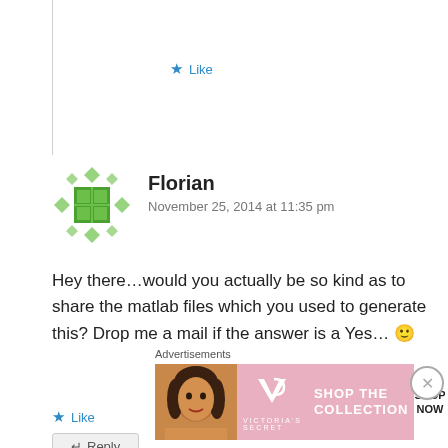Like
[Figure (illustration): Green pixel/Gravatar avatar icon for user Florian]
Florian
November 25, 2014 at 11:35 pm
Hey there…would you actually be so kind as to share the matlab files which you used to generate this? Drop me a mail if the answer is a Yes… 🙂
Like
↵ Reply
Advertisements
[Figure (photo): Victoria's Secret advertisement banner showing a woman model with the text SHOP THE COLLECTION and SHOP NOW button]